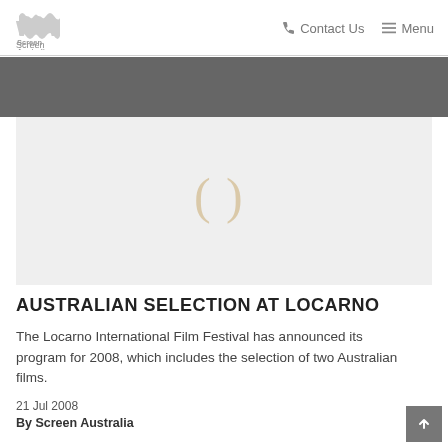Screen Australia | Contact Us | Menu
[Figure (illustration): Loading spinner placeholder on light grey background — two curved parenthesis-like arcs in light tan/gold color centered on grey rectangle]
AUSTRALIAN SELECTION AT LOCARNO
The Locarno International Film Festival has announced its program for 2008, which includes the selection of two Australian films.
21 Jul 2008
By Screen Australia